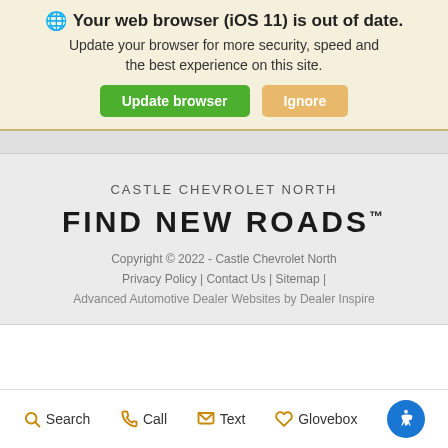🌐 Your web browser (iOS 11) is out of date.
Update your browser for more security, speed and the best experience on this site.
Update browser   Ignore
CASTLE CHEVROLET NORTH
FIND NEW ROADS™
Copyright © 2022 - Castle Chevrolet North
Privacy Policy | Contact Us | Sitemap |
Advanced Automotive Dealer Websites by Dealer Inspire
Search   Call   Text   Glovebox   [Accessibility]